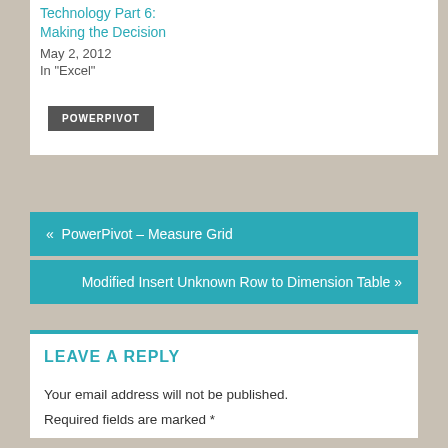Technology Part 6: Making the Decision
May 2, 2012
In "Excel"
POWERPIVOT
« PowerPivot – Measure Grid
Modified Insert Unknown Row to Dimension Table »
LEAVE A REPLY
Your email address will not be published.
Required fields are marked *